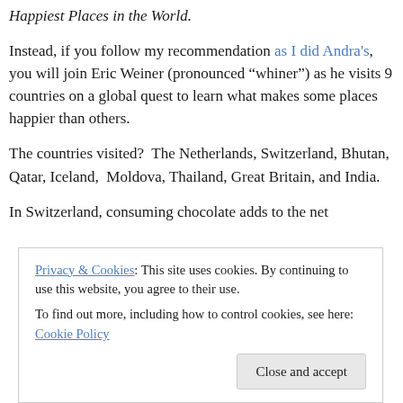Happiest Places in the World.
Instead, if you follow my recommendation as I did Andra's, you will join Eric Weiner (pronounced “whiner”) as he visits 9 countries on a global quest to learn what makes some places happier than others.
The countries visited?  The Netherlands, Switzerland, Bhutan, Qatar, Iceland,  Moldova, Thailand, Great Britain, and India.
In Switzerland, consuming chocolate adds to the net
Privacy & Cookies: This site uses cookies. By continuing to use this website, you agree to their use.
To find out more, including how to control cookies, see here: Cookie Policy